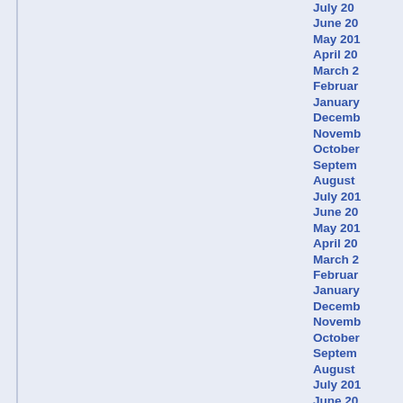July 20...
June 20...
May 201...
April 20...
March 2...
Februar...
January...
Decemb...
Novemb...
October...
Septem...
August ...
July 201...
June 20...
May 201...
April 20...
March 2...
Februar...
January...
Decemb...
Novemb...
October...
Septem...
August ...
July 201...
June 20...
May 201...
April 20...
March 2...
Februar...
January...
Decemb...
Novemb...